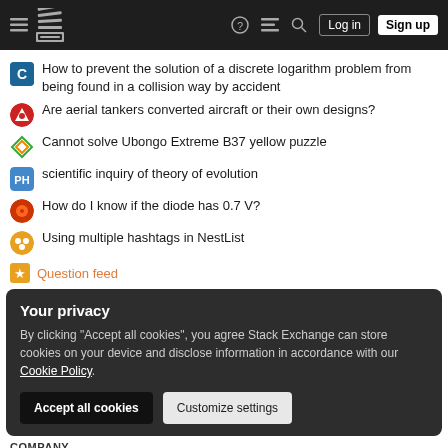Stack Exchange navigation bar with Log in and Sign up buttons
How to prevent the solution of a discrete logarithm problem from being found in a collision way by accident
Are aerial tankers converted aircraft or their own designs?
Cannot solve Ubongo Extreme B37 yellow puzzle
scientific inquiry of theory of evolution
How do I know if the diode has 0.7 V?
Using multiple hashtags in NestList
Question feed
Your privacy
By clicking "Accept all cookies", you agree Stack Exchange can store cookies on your device and disclose information in accordance with our Cookie Policy.
Accept all cookies | Customize settings
COMPANY